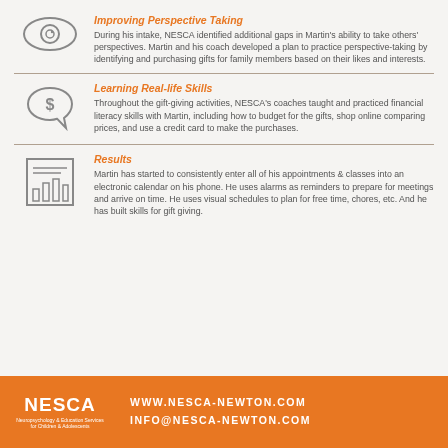Improving Perspective Taking
During his intake, NESCA identified additional gaps in Martin's ability to take others' perspectives. Martin and his coach developed a plan to practice perspective-taking by identifying and purchasing gifts for family members based on their likes and interests.
Learning Real-life Skills
Throughout the gift-giving activities, NESCA's coaches taught and practiced financial literacy skills with Martin, including how to budget for the gifts, shop online comparing prices, and use a credit card to make the purchases.
Results
Martin has started to consistently enter all of his appointments & classes into an electronic calendar on his phone. He uses alarms as reminders to prepare for meetings and arrive on time. He uses visual schedules to plan for free time, chores, etc. And he has built skills for gift giving.
NESCA | WWW.NESCA-NEWTON.COM | INFO@NESCA-NEWTON.COM